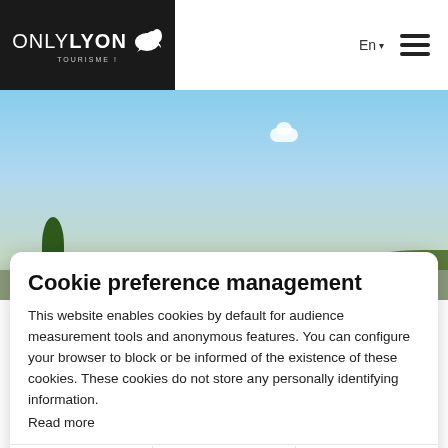ONLYLYON TOURISME | En ▾ ☰
[Figure (photo): Blue sky with a small white cloud, a tree on the left, green hills on the right, overlaid with italic text 'Alternative means of transport']
Cookie preference management
This website enables cookies by default for audience measurement tools and anonymous features. You can configure your browser to block or be informed of the existence of these cookies. These cookies do not store any personally identifying information.
Read more
No thanks | I want to choose | OK!